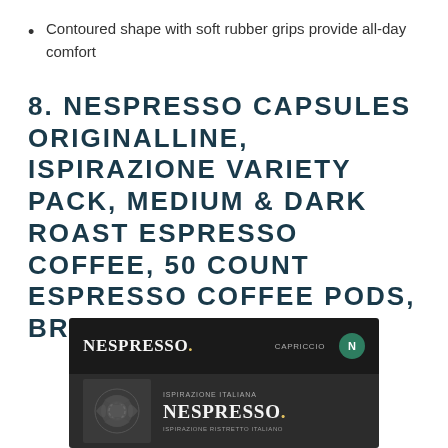Contoured shape with soft rubber grips provide all-day comfort
8. NESPRESSO CAPSULES ORIGINALLINE, ISPIRAZIONE VARIETY PACK, MEDIUM & DARK ROAST ESPRESSO COFFEE, 50 COUNT ESPRESSO COFFEE PODS, BREWS 1.35OZ
[Figure (photo): Nespresso capsule product box packaging showing dark colored boxes with Nespresso logo and green N badge for Capriccio variety]